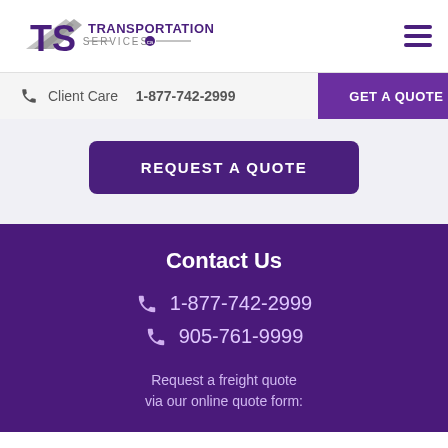[Figure (logo): TS Transportation Services logo with stylized TS letters and arrow]
Client Care 📞 1-877-742-2999
GET A QUOTE >
REQUEST A QUOTE
Contact Us
📞 1-877-742-2999
📞 905-761-9999
Request a freight quote via our online quote form: